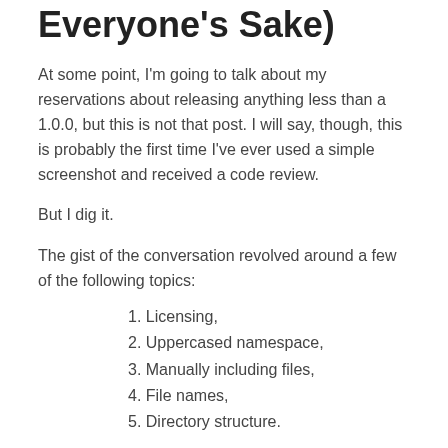Everyone's Sake)
At some point, I'm going to talk about my reservations about releasing anything less than a 1.0.0, but this is not that post. I will say, though, this is probably the first time I've ever used a simple screenshot and received a code review.
But I dig it.
The gist of the conversation revolved around a few of the following topics:
1. Licensing,
2. Uppercased namespace,
3. Manually including files,
4. File names,
5. Directory structure.